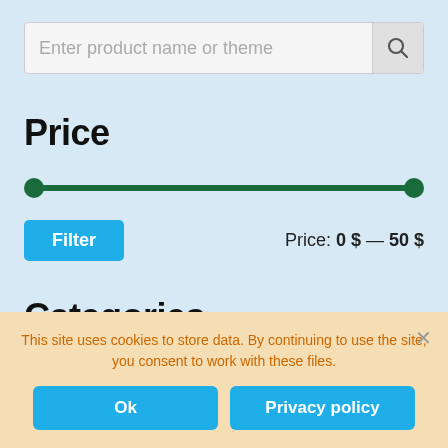Enter product name or theme
Price
[Figure (other): Price range slider from 0 to 50, with two dark green circular handles at each end of a dark green track.]
Filter   Price: 0 $ — 50 $
Categories
This site uses cookies to store data. By continuing to use the site, you consent to work with these files.
Ok   Privacy policy